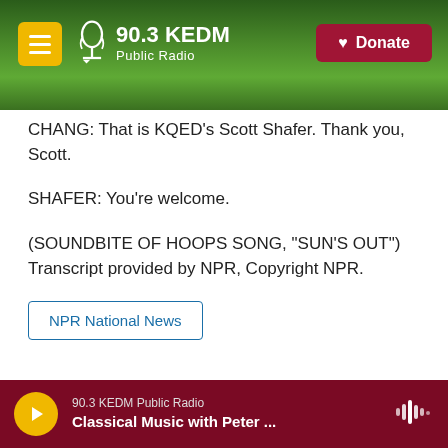[Figure (screenshot): 90.3 KEDM Public Radio website header with forest background, hamburger menu button, logo, and red Donate button]
CHANG: That is KQED's Scott Shafer. Thank you, Scott.
SHAFER: You're welcome.
(SOUNDBITE OF HOOPS SONG, "SUN'S OUT") Transcript provided by NPR, Copyright NPR.
NPR National News
[Figure (other): Social sharing icons: Facebook, Twitter, LinkedIn, Email]
90.3 KEDM Public Radio — Classical Music with Peter ...